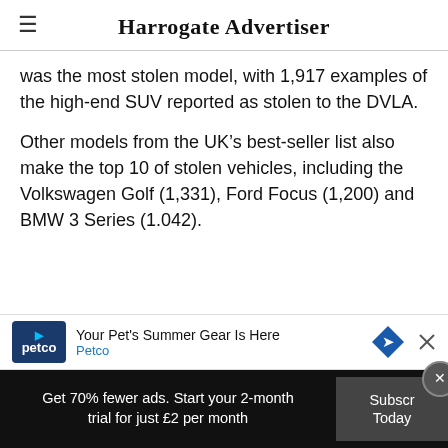Harrogate Advertiser
was the most stolen model, with 1,917 examples of the high-end SUV reported as stolen to the DVLA.
Other models from the UK’s best-seller list also make the top 10 of stolen vehicles, including the Volkswagen Golf (1,331), Ford Focus (1,200) and BMW 3 Series (1.042).
[Figure (other): Petco advertisement banner: 'Your Pet's Summer Gear Is Here' with Petco logo and blue arrow sign]
Get 70% fewer ads. Start your 2-month trial for just £2 per month
Subscribe Today